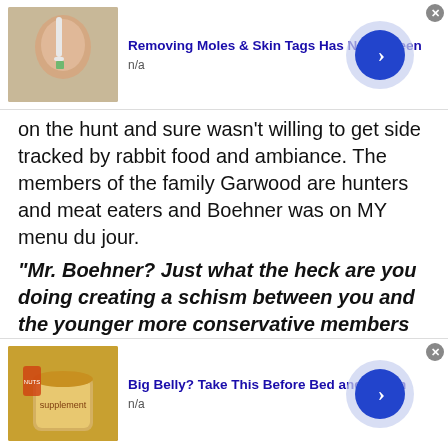[Figure (other): Top advertisement banner: thumbnail of person applying something to face, ad title 'Removing Moles & Skin Tags Has Never Been' with 'n/a' subtext, blue arrow button on right, close X button]
on the hunt and sure wasn't willing to get side tracked by rabbit food and ambiance. The members of the family Garwood are hunters and meat eaters and Boehner was on MY menu du jour.
“Mr. Boehner? Just what the heck are you doing creating a schism between you and the younger more conservative members of the House?” I asked innocently, delicately double-
[Figure (other): Bottom advertisement banner: thumbnail of jar with food/supplement, ad title 'Big Belly? Take This Before Bed and Watch' with 'n/a' subtext, blue arrow button on right, close X button]